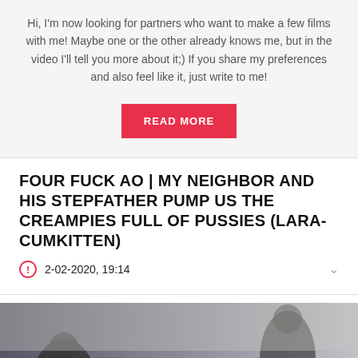Hi, I'm now looking for partners who want to make a few films with me! Maybe one or the other already knows me, but in the video I'll tell you more about it;) If you share my preferences and also feel like it, just write to me!
READ MORE
FOUR FUCK AO | MY NEIGHBOR AND HIS STEPFATHER PUMP US THE CREAMPIES FULL OF PUSSIES (LARA-CUMKITTEN)
2-02-2020, 19:14
[Figure (photo): Video thumbnail showing text overlay: UNGEPLANTER VIERER AO FICK MIT CREAMPIE KUSS in white italic and green bold fonts, over a scene with people on a couch]